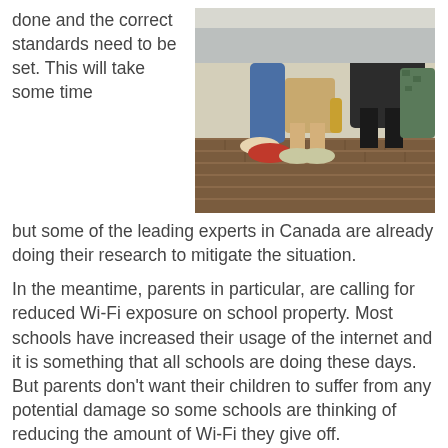done and the correct standards need to be set. This will take some time but some of the leading experts in Canada are already doing their research to mitigate the situation.
[Figure (photo): Group of young people sitting outdoors on brick steps in the sun, legs visible, one holding a drink bottle.]
In the meantime, parents in particular, are calling for reduced Wi-Fi exposure on school property. Most schools have increased their usage of the internet and it is something that all schools are doing these days. But parents don't want their children to suffer from any potential damage so some schools are thinking of reducing the amount of Wi-Fi they give off.
To Conclu...